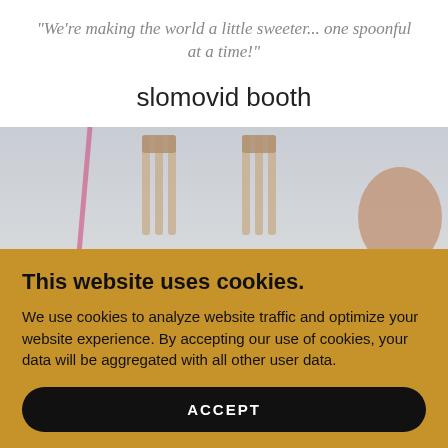"We're making the world a little sweeter... one spoonful at a time!"
slomovid booth
[Figure (photo): A partial photo showing forks and a person's head/hair on a light background, partially obscured by the cookie consent overlay.]
This website uses cookies.
We use cookies to analyze website traffic and optimize your website experience. By accepting our use of cookies, your data will be aggregated with all other user data.
ACCEPT